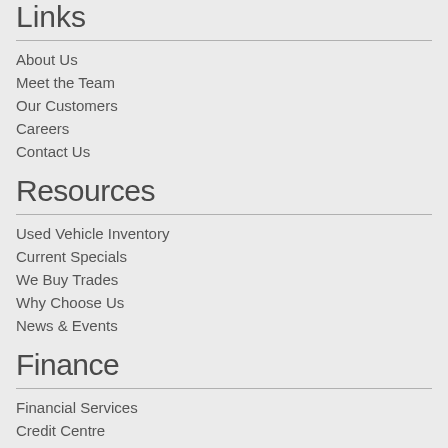Links
About Us
Meet the Team
Our Customers
Careers
Contact Us
Resources
Used Vehicle Inventory
Current Specials
We Buy Trades
Why Choose Us
News & Events
Finance
Financial Services
Credit Centre